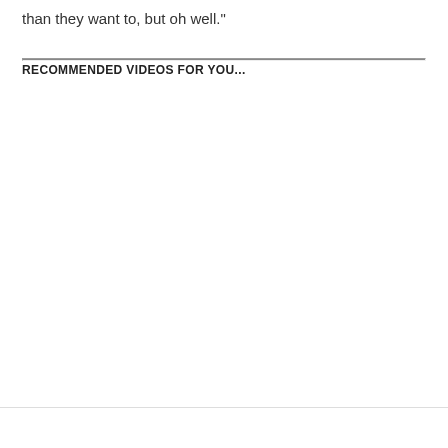than they want to, but oh well."
RECOMMENDED VIDEOS FOR YOU...